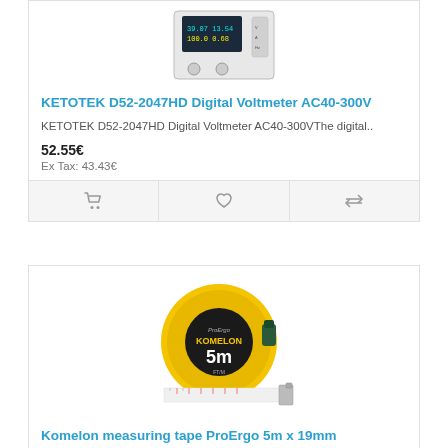[Figure (photo): KETOTEK D52-2047HD Digital Voltmeter device, white rectangular unit with digital display showing voltage and current readings]
KETOTEK D52-2047HD Digital Voltmeter AC40-300V
KETOTEK D52-2047HD Digital Voltmeter AC40-300VThe digital..
52.55€
Ex Tax: 43.43€
[Figure (photo): Komelon ProErgo yellow tape measure 5m, with extended metal tape blade visible]
Komelon measuring tape ProErgo 5m x 19mm